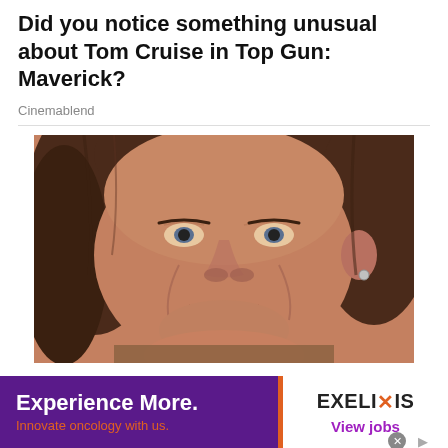Did you notice something unusual about Tom Cruise in Top Gun: Maverick?
Cinemablend
[Figure (photo): Close-up photo of a middle-aged man with brown hair, smiling broadly showing white teeth, wearing an earring.]
Ashburn: These Implants Are Almost Being
[Figure (other): Advertisement banner: 'Experience More. Innovate oncology with us.' on purple background with orange divider, and EXELIXIS logo with 'View jobs' on white background.]